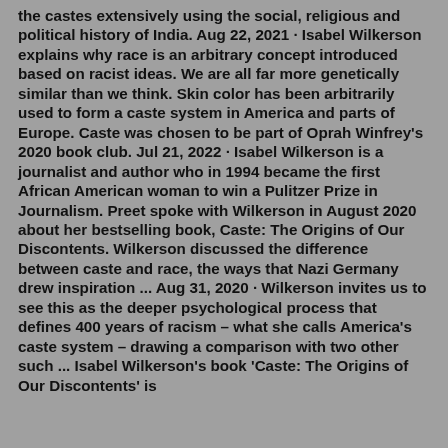the castes extensively using the social, religious and political history of India. Aug 22, 2021 · Isabel Wilkerson explains why race is an arbitrary concept introduced based on racist ideas. We are all far more genetically similar than we think. Skin color has been arbitrarily used to form a caste system in America and parts of Europe. Caste was chosen to be part of Oprah Winfrey's 2020 book club. Jul 21, 2022 · Isabel Wilkerson is a journalist and author who in 1994 became the first African American woman to win a Pulitzer Prize in Journalism. Preet spoke with Wilkerson in August 2020 about her bestselling book, Caste: The Origins of Our Discontents. Wilkerson discussed the difference between caste and race, the ways that Nazi Germany drew inspiration ... Aug 31, 2020 · Wilkerson invites us to see this as the deeper psychological process that defines 400 years of racism – what she calls America's caste system – drawing a comparison with two other such ... Isabel Wilkerson's book 'Caste: The Origins of Our Discontents' is